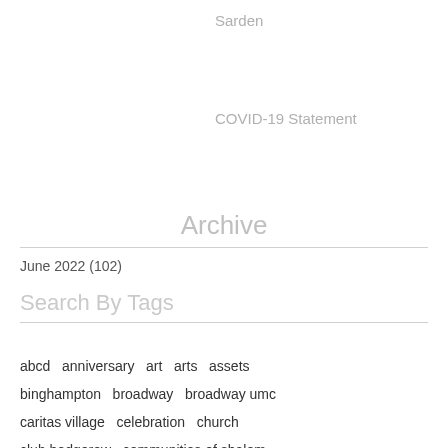Sarden
COVID-19 Statement
Archive
June 2022 (102)
Search By Tags
abcd   anniversary   art   arts   assets
binghampton   broadway   broadway umc
caritas village   celebration   church
club hedgerow   communities of shalom